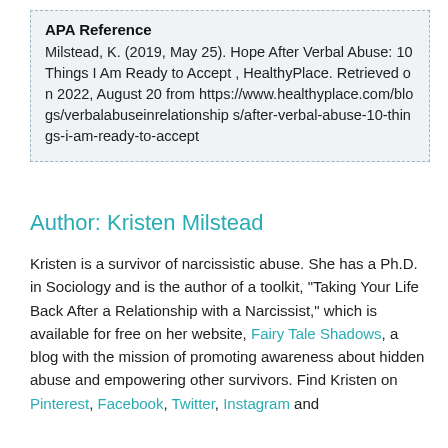APA Reference
Milstead, K. (2019, May 25). Hope After Verbal Abuse: 10 Things I Am Ready to Accept , HealthyPlace. Retrieved on 2022, August 20 from https://www.healthyplace.com/blogs/verbalabuseinrelationships/after-verbal-abuse-10-things-i-am-ready-to-accept
Author: Kristen Milstead
Kristen is a survivor of narcissistic abuse. She has a Ph.D. in Sociology and is the author of a toolkit, "Taking Your Life Back After a Relationship with a Narcissist," which is available for free on her website, Fairy Tale Shadows, a blog with the mission of promoting awareness about hidden abuse and empowering other survivors. Find Kristen on Pinterest, Facebook, Twitter, Instagram and